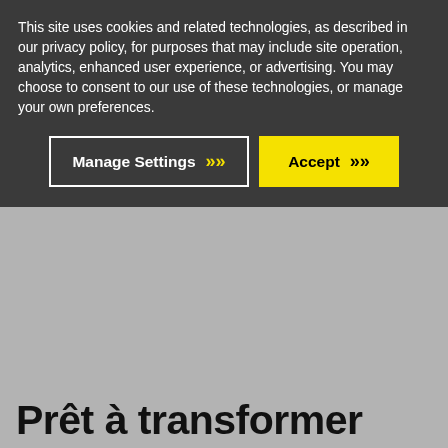This site uses cookies and related technologies, as described in our privacy policy, for purposes that may include site operation, analytics, enhanced user experience, or advertising. You may choose to consent to our use of these technologies, or manage your own preferences.
[Figure (screenshot): Two buttons: 'Manage Settings' (dark background with white border and yellow chevron) and 'Accept' (yellow background with black text and chevron)]
Prêt à transformer votre entreprise ?
Nous avons les solutions ERP spécialisées dont vous avez besoin pour relever les défis de votre secteur.